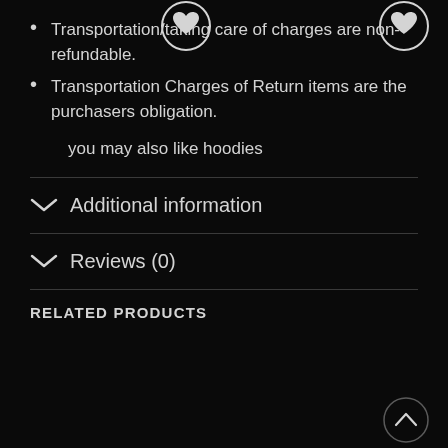Transportation/taking care of charges are non-refundable.
Transportation Charges of Return items are the purchasers obligation.
you may also like hoodies
Additional information
Reviews (0)
RELATED PRODUCTS
[Figure (illustration): Two circular heart/wishlist buttons and one circular scroll-to-top button at the bottom of a product page]